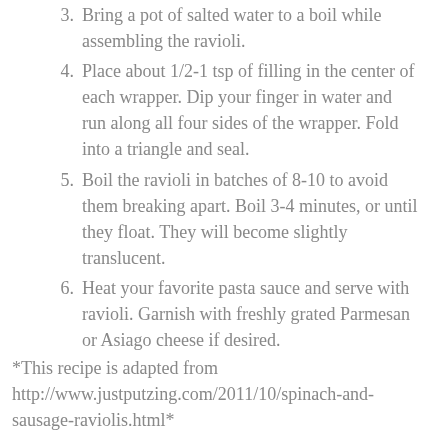3. Bring a pot of salted water to a boil while assembling the ravioli.
4. Place about 1/2-1 tsp of filling in the center of each wrapper. Dip your finger in water and run along all four sides of the wrapper. Fold into a triangle and seal.
5. Boil the ravioli in batches of 8-10 to avoid them breaking apart. Boil 3-4 minutes, or until they float. They will become slightly translucent.
6. Heat your favorite pasta sauce and serve with ravioli. Garnish with freshly grated Parmesan or Asiago cheese if desired.
*This recipe is adapted from http://www.justputzing.com/2011/10/spinach-and-sausage-raviolis.html*